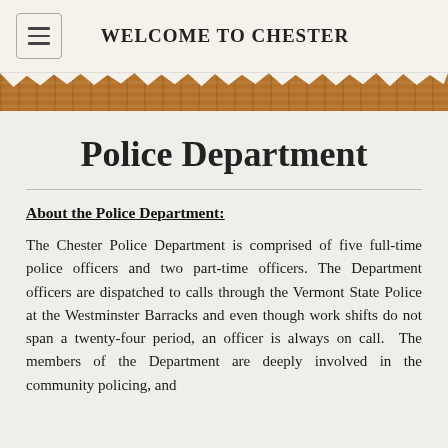WELCOME TO CHESTER
Police Department
About the Police Department:
The Chester Police Department is comprised of five full-time police officers and two part-time officers. The Department officers are dispatched to calls through the Vermont State Police at the Westminster Barracks and even though work shifts do not span a twenty-four period, an officer is always on call.  The members of the Department are deeply involved in the community policing, and